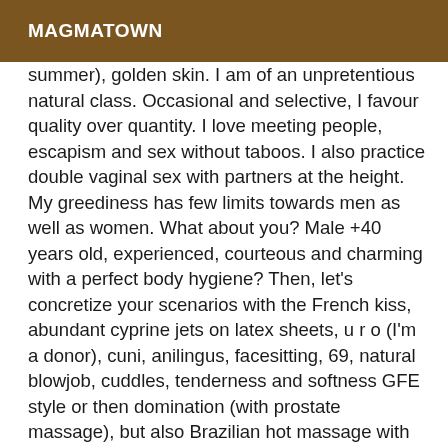MAGMATOWN
summer), golden skin. I am of an unpretentious natural class. Occasional and selective, I favour quality over quantity. I love meeting people, escapism and sex without taboos. I also practice double vaginal sex with partners at the height. My greediness has few limits towards men as well as women. What about you? Male +40 years old, experienced, courteous and charming with a perfect body hygiene? Then, let's concretize your scenarios with the French kiss, abundant cyprine jets on latex sheets, u r o (I'm a donor), cuni, anilingus, facesitting, 69, natural blowjob, cuddles, tenderness and softness GFE style or then domination (with prostate massage), but also Brazilian hot massage with my oiled clit, unlimited intercourse, the s*o*d*o* with my dilated anus under poppers and so many other yummy things... Thirsty and ready for a beautiful Gala-style cyprinade? Perfect, you will be well served. It goes without saying that we are far from the formatted appointment: nothing